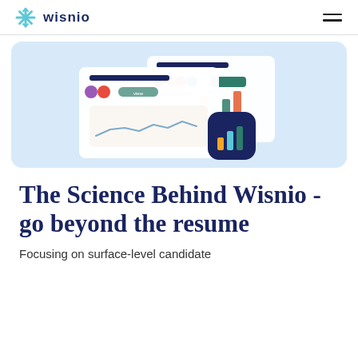wisnio
[Figure (illustration): Dashboard UI illustration showing recruitment/analytics interface with charts, bar graph icon, user avatars, and data widgets on a light blue background]
The Science Behind Wisnio - go beyond the resume
Focusing on surface-level candidate